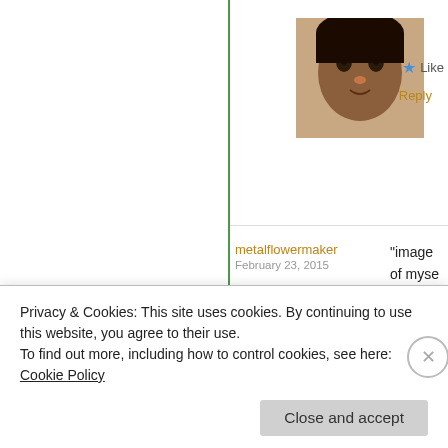[Figure (photo): Small avatar photo of a child's face, partially visible at top of page]
Like
Reply
metalflowermaker
February 23, 2015
[Figure (photo): Circular metal flower/brooch with petal design on dark textured background]
"image of myse reflection. Is th hair, which is b hair. We have s deal with as ou year old for ex enough if you a
★ Liked by 1 per
Privacy & Cookies: This site uses cookies. By continuing to use this website, you agree to their use.
To find out more, including how to control cookies, see here:
Cookie Policy
Close and accept